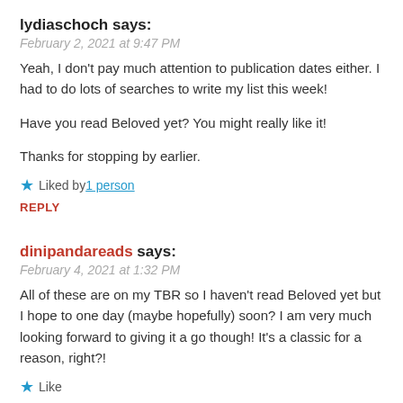lydiaschoch says:
February 2, 2021 at 9:47 PM
Yeah, I don't pay much attention to publication dates either. I had to do lots of searches to write my list this week!

Have you read Beloved yet? You might really like it!

Thanks for stopping by earlier.
★ Liked by 1 person
REPLY
dinipandareads says:
February 4, 2021 at 1:32 PM
All of these are on my TBR so I haven't read Beloved yet but I hope to one day (maybe hopefully) soon? I am very much looking forward to giving it a go though! It's a classic for a reason, right?!
★ Like